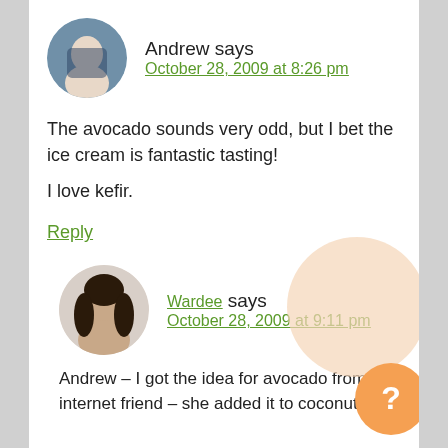Andrew says
October 28, 2009 at 8:26 pm
The avocado sounds very odd, but I bet the ice cream is fantastic tasting!
I love kefir.
Reply
Wardee says
October 28, 2009 at 9:11 pm
Andrew – I got the idea for avocado from internet friend – she added it to coconut